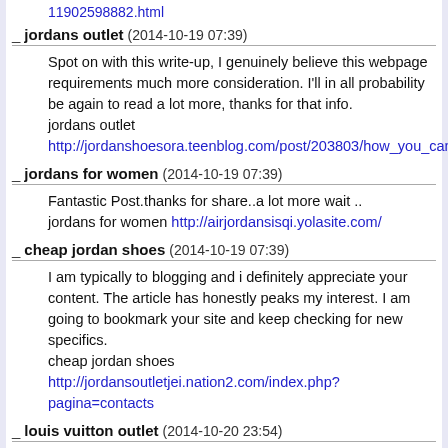11902598882.html
_ jordans outlet (2014-10-19 07:39)
Spot on with this write-up, I genuinely believe this webpage requirements much more consideration. I'll in all probability be again to read a lot more, thanks for that info.
jordans outlet
http://jordanshoesora.teenblog.com/post/203803/how_you_can_
_ jordans for women (2014-10-19 07:39)
Fantastic Post.thanks for share..a lot more wait ..
jordans for women http://airjordansisqi.yolasite.com/
_ cheap jordan shoes (2014-10-19 07:39)
I am typically to blogging and i definitely appreciate your content. The article has honestly peaks my interest. I am going to bookmark your site and keep checking for new specifics.
cheap jordan shoes
http://jordansoutletjei.nation2.com/index.php?pagina=contacts
_ louis vuitton outlet (2014-10-20 23:54)
Use these bags as a useful shopping tote.
louis vuitton outlet